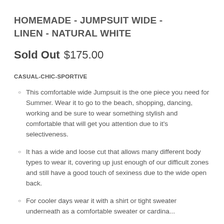HOMEMADE - JUMPSUIT WIDE - LINEN - NATURAL WHITE
Sold Out $175.00
CASUAL-CHIC-SPORTIVE
This comfortable wide Jumpsuit is the one piece you need for Summer. Wear it to go to the beach, shopping, dancing, working and be sure to wear something stylish and comfortable that will get you attention due to it's selectiveness.
It has a wide and loose cut that allows many different body types to wear it, covering up just enough of our difficult zones and still have a good touch of sexiness due to the wide open back.
For cooler days wear it with a shirt or tight sweater underneath as a comfortable sweater or cardigan...